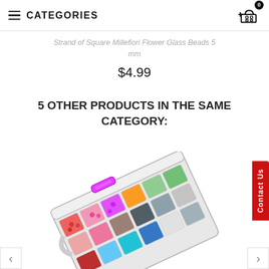≡ CATEGORIES
Strand of Square Millefiori Flower Glass Beads 5 mm
$4.99
5 OTHER PRODUCTS IN THE SAME CATEGORY:
[Figure (photo): A clear plastic organizer box with a pink latch, containing multiple compartments filled with colorful glass beads in various colors including red, pink, magenta, orange, blue, green, teal, brown, black, silver, gray, and transparent beads.]
Contact Us